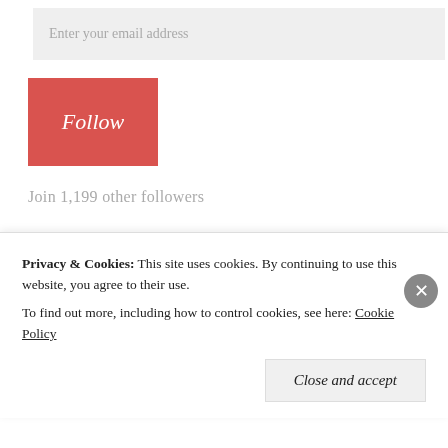Enter your email address
Follow
Join 1,199 other followers
Archives
September 2018
Privacy & Cookies: This site uses cookies. By continuing to use this website, you agree to their use. To find out more, including how to control cookies, see here: Cookie Policy
Close and accept